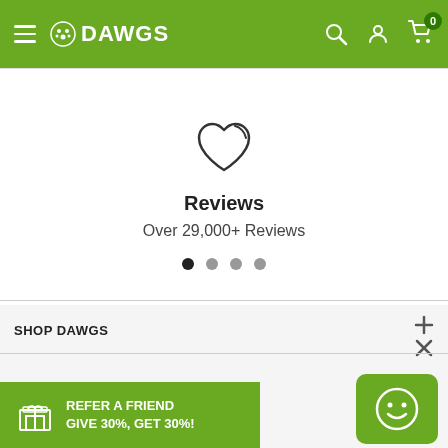DAWGS
[Figure (illustration): Heart outline icon]
Reviews
Over 29,000+ Reviews
[Figure (other): Pagination dots - four dots, first one filled/active]
SHOP DAWGS
[Figure (infographic): Refer a friend banner: gift box icon, REFER A FRIEND GIVE 30%, GET 30%!]
[Figure (other): Green smiley face chat button]